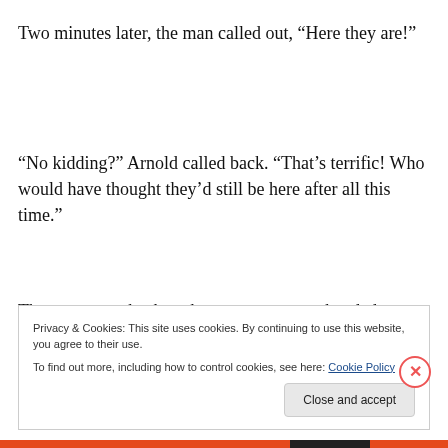Two minutes later, the man called out, “Here they are!”
“No kidding?” Arnold called back. “That’s terrific! Who would have thought they’d still be here after all this time.”
The man came back to the counter, empty-handed. “They’ll be ready Thursday,” he said calmly.
…
Privacy & Cookies: This site uses cookies. By continuing to use this website, you agree to their use.
To find out more, including how to control cookies, see here: Cookie Policy